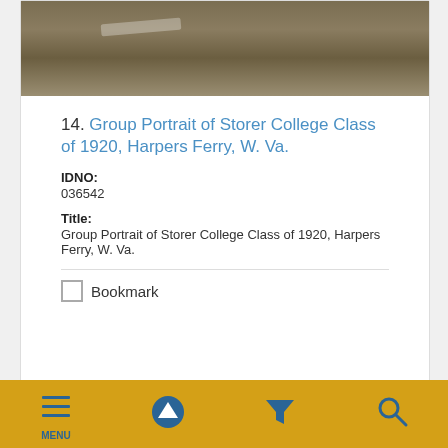[Figure (photo): Sepia-toned group photograph of Storer College Class of 1920, Harpers Ferry, W. Va., showing students seated/lying on grass with a banner]
14. Group Portrait of Storer College Class of 1920, Harpers Ferry, W. Va.
IDNO:
036542
Title:
Group Portrait of Storer College Class of 1920, Harpers Ferry, W. Va.
Bookmark
[Figure (photo): Sepia-toned group photograph partially visible at bottom of page, showing people outdoors with foliage]